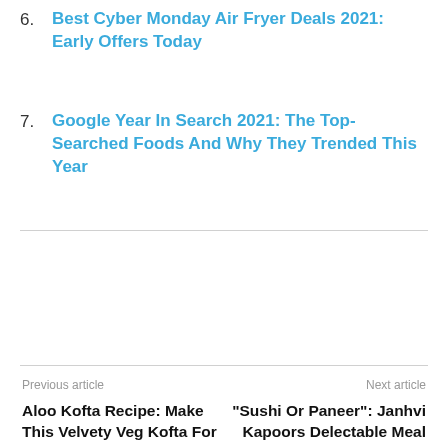6. Best Cyber Monday Air Fryer Deals 2021: Early Offers Today
7. Google Year In Search 2021: The Top-Searched Foods And Why They Trended This Year
Previous article
Next article
Aloo Kofta Recipe: Make This Velvety Veg Kofta For Mid-Week Indulgence
"Sushi Or Paneer": Janhvi Kapoors Delectable Meal Has Left Us Slurping